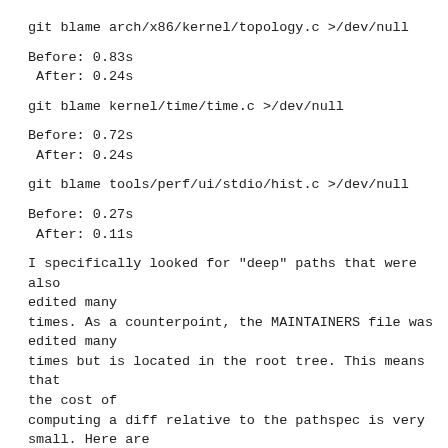git blame arch/x86/kernel/topology.c >/dev/null
Before: 0.83s
 After: 0.24s
git blame kernel/time/time.c >/dev/null
Before: 0.72s
 After: 0.24s
git blame tools/perf/ui/stdio/hist.c >/dev/null
Before: 0.27s
 After: 0.11s
I specifically looked for "deep" paths that were also edited many
times. As a counterpoint, the MAINTAINERS file was edited many
times but is located in the root tree. This means that the cost of
computing a diff relative to the pathspec is very small. Here are
the timings for that command:
git blame MAINTAINERS >/dev/null
Before: 20.1s
 After: 18.0s